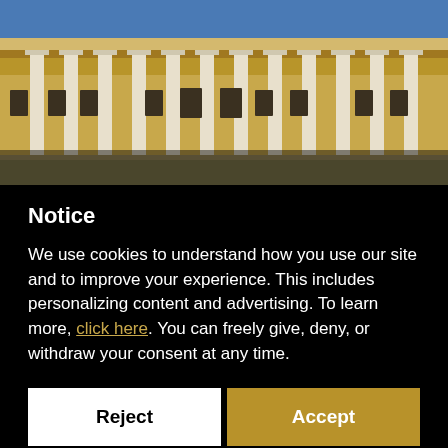[Figure (photo): Photograph of a neoclassical building facade with white columns and yellowish walls under a blue sky]
Notice
We use cookies to understand how you use our site and to improve your experience. This includes personalizing content and advertising. To learn more, click here. You can freely give, deny, or withdraw your consent at any time.
Reject
Accept
Learn more and customize